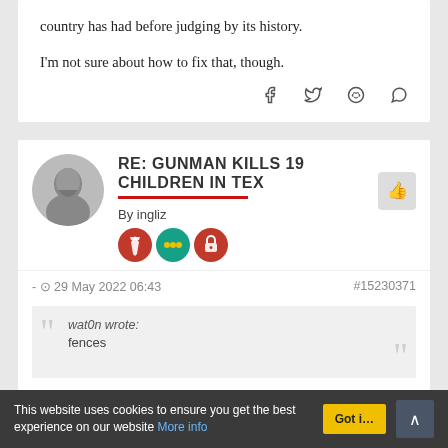country has had before judging by its history.
I'm not sure about how to fix that, though.
RE: GUNMAN KILLS 19 CHILDREN IN TEX
By ingliz
- 29 May 2022 06:43   #15230371
wat0n wrote:
fences
Bolt cutters?
A bolt cutter, sometimes called bolt cropper, is a tool used f…
This website uses cookies to ensure you get the best experience on our website More info